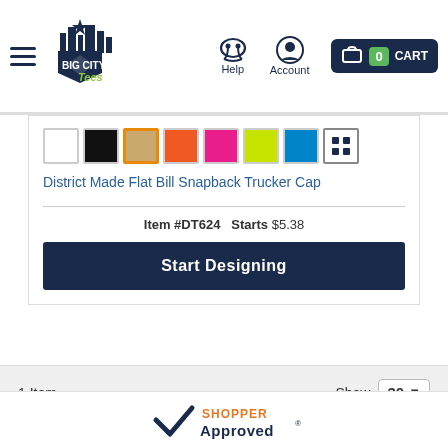Big City Tees — Help | Account | CART 0
[Figure (other): Color swatches: white, black, tan (selected), orange, pink, yellow-green, blue, grid/all-colors]
District Made Flat Bill Snapback Trucker Cap
Item #DT624   Starts $5.38
Start Designing
1 Item   Show 30
[Figure (logo): Shopper Approved logo — checkmark with orange SHOPPER text and dark Approved text]